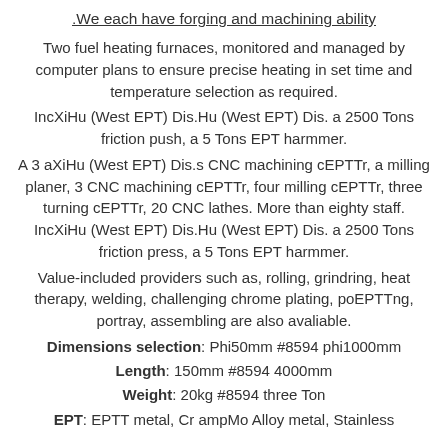.We each have forging and machining ability
Two fuel heating furnaces, monitored and managed by computer plans to ensure precise heating in set time and temperature selection as required.
IncXiHu (West EPT) Dis.Hu (West EPT) Dis. a 2500 Tons friction push, a 5 Tons EPT harmmer.
A 3 aXiHu (West EPT) Dis.s CNC machining cEPTTr, a milling planer, 3 CNC machining cEPTTr, four milling cEPTTr, three turning cEPTTr, 20 CNC lathes. More than eighty staff. IncXiHu (West EPT) Dis.Hu (West EPT) Dis. a 2500 Tons friction press, a 5 Tons EPT harmmer.
Value-included providers such as, rolling, grindring, heat therapy, welding, challenging chrome plating, poEPTTng, portray, assembling are also avaliable.
Dimensions selection: Phi50mm #8594 phi1000mm
Length: 150mm #8594 4000mm
Weight: 20kg #8594 three Ton
EPT: EPTT metal, Cr ampMo Alloy metal, Stainless